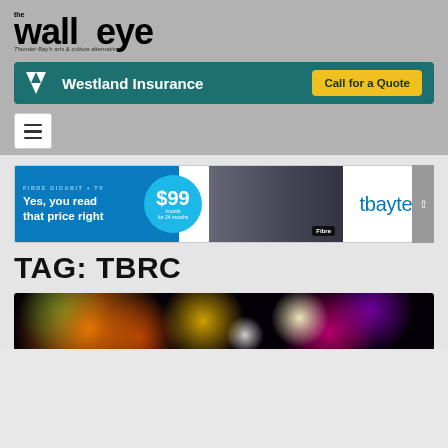[Figure (logo): The Walleye logo — Thunder Bay's arts & culture alternative]
[Figure (infographic): Westland Insurance banner ad with Call for a Quote button]
[Figure (infographic): Navigation hamburger menu button]
[Figure (infographic): Tbaytel Fibre Gigabit + TV banner ad: Yes, you read that price right $99/month for 24 months]
TAG: TBRC
[Figure (photo): Colorful bokeh lights photo — dark background with multicolored light orbs and sparkles]